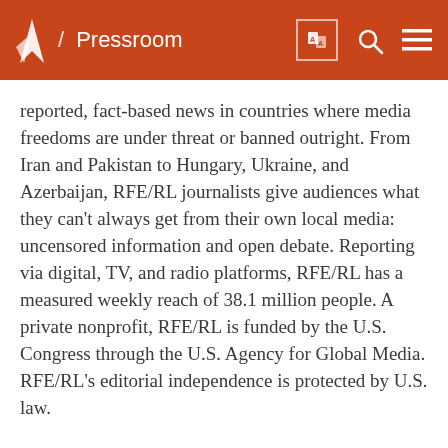/ Pressroom
reported, fact-based news in countries where media freedoms are under threat or banned outright. From Iran and Pakistan to Hungary, Ukraine, and Azerbaijan, RFE/RL journalists give audiences what they can't always get from their own local media: uncensored information and open debate. Reporting via digital, TV, and radio platforms, RFE/RL has a measured weekly reach of 38.1 million people. A private nonprofit, RFE/RL is funded by the U.S. Congress through the U.S. Agency for Global Media. RFE/RL's editorial independence is protected by U.S. law.
RFE/RL Standards